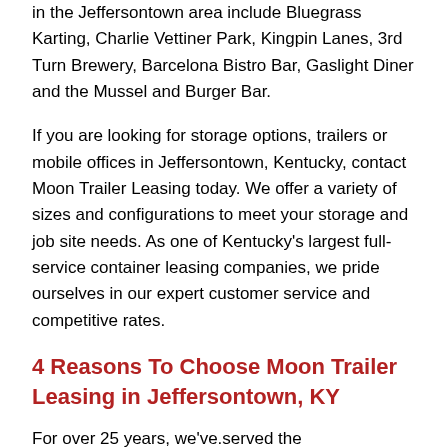in the Jeffersontown area include Bluegrass Karting, Charlie Vettiner Park, Kingpin Lanes, 3rd Turn Brewery, Barcelona Bistro Bar, Gaslight Diner and the Mussel and Burger Bar.
If you are looking for storage options, trailers or mobile offices in Jeffersontown, Kentucky, contact Moon Trailer Leasing today. We offer a variety of sizes and configurations to meet your storage and job site needs. As one of Kentucky's largest full-service container leasing companies, we pride ourselves in our expert customer service and competitive rates.
4 Reasons To Choose Moon Trailer Leasing in Jeffersontown, KY
For over 25 years, we've.served the Jeffersontown, Kentucky area. Keep reading to learn 4 reasons why you should choose Moon Trailer Leasing.